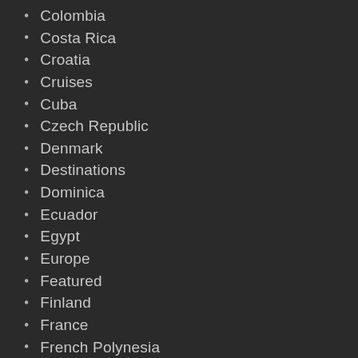Colombia
Costa Rica
Croatia
Cruises
Cuba
Czech Republic
Denmark
Destinations
Dominica
Ecuador
Egypt
Europe
Featured
Finland
France
French Polynesia
Germany
Ghana
Great Britain
Greece
Holland